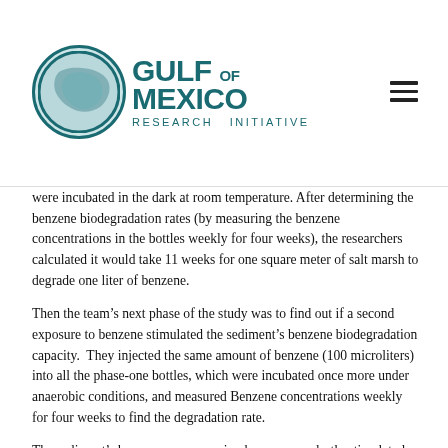[Figure (logo): Gulf of Mexico Research Initiative logo with teal circle containing map silhouette and bold teal text]
were incubated in the dark at room temperature. After determining the benzene biodegradation rates (by measuring the benzene concentrations in the bottles weekly for four weeks), the researchers calculated it would take 11 weeks for one square meter of salt marsh to degrade one liter of benzene.
Then the team's next phase of the study was to find out if a second exposure to benzene stimulated the sediment's benzene biodegradation capacity.  They injected the same amount of benzene (100 microliters) into all the phase-one bottles, which were incubated once more under anaerobic conditions, and measured Benzene concentrations weekly for four weeks to find the degradation rate.
The sediment's benzene exposures in phase one modestly stimulated its degradation capacity after more benzene was added in phase two of the study. The one exception involved the sediment receiving the highest benzene exposure in phase one: the rate at which it degraded the added benzene was significantly higher than in sediments pre-exposed to the least amount of benzene or no benzene. The authors explained that the limited boost in benzene degradation rate was likely affected by the historical petroleum exposure in coastal salt marsh sediments with more than 1,000